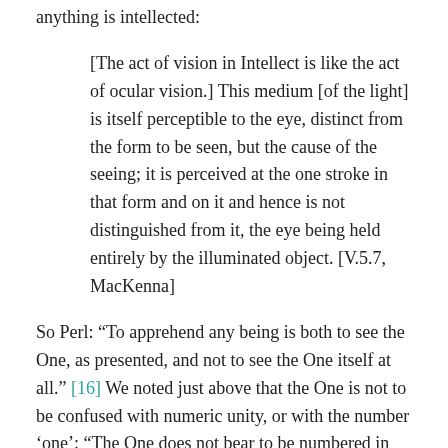anything is intellected:
[The act of vision in Intellect is like the act of ocular vision.] This medium [of the light] is itself perceptible to the eye, distinct from the form to be seen, but the cause of the seeing; it is perceived at the one stroke in that form and on it and hence is not distinguished from it, the eye being held entirely by the illuminated object. [V.5.7, MacKenna]
So Perl: “To apprehend any being is both to see the One, as presented, and not to see the One itself at all.” [16] We noted just above that the One is not to be confused with numeric unity, or with the number ‘one’: “The One does not bear to be numbered in with anything else, with a one or a two or any such quantity; it refuses to take number because it is measure and not the